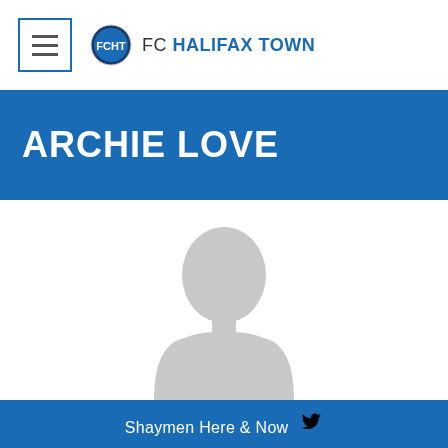FC Halifax Town
ARCHIE LOVE
[Figure (photo): Generic placeholder silhouette of a person (grey head and shoulders shape on white background)]
Shaymen Here & Now